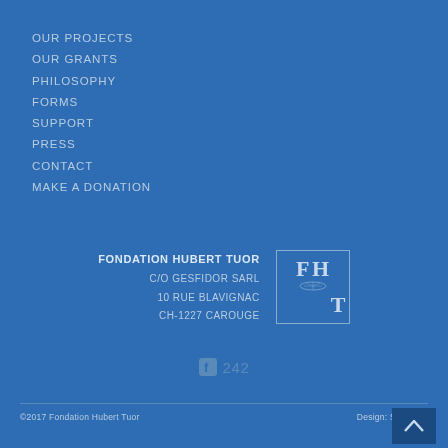OUR PROJECTS
OUR GRANTS
PHILOSOPHY
FORMS
SUPPORT
PRESS
CONTACT
MAKE A DONATION
FONDATION HUBERT TUOR
C/O GESFIDOR SARL
10 RUE BLAVIGNAC
CH-1227 CAROUGE
[Figure (logo): FHT logo in bordered box with F, H, T letters and tree illustration]
242
©2017 Fondation Hubert Tuor    Design: S agence